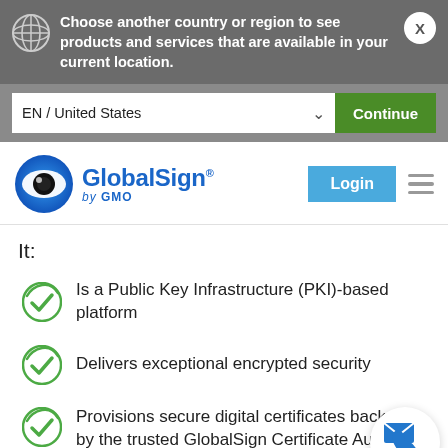Choose another country or region to see products and services that are available in your current location.
EN / United States
Continue
[Figure (logo): GlobalSign by GMO logo with blue eye icon]
Login
It:
Is a Public Key Infrastructure (PKI)-based platform
Delivers exceptional encrypted security
Provisions secure digital certificates backed by the trusted GlobalSign Certificate Authority (CA)
[Figure (illustration): Contact bubble with email and phone icons]